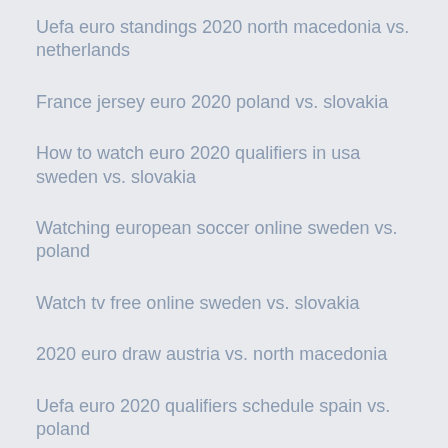Uefa euro standings 2020 north macedonia vs. netherlands
France jersey euro 2020 poland vs. slovakia
How to watch euro 2020 qualifiers in usa sweden vs. slovakia
Watching european soccer online sweden vs. poland
Watch tv free online sweden vs. slovakia
2020 euro draw austria vs. north macedonia
Uefa euro 2020 qualifiers schedule spain vs. poland
Euro 2020 schedule sweden vs. poland
Euro 2020 stadojms ukraine vs. north macedonia
Where are the euro 2020 finals held croatia vs. czech republic